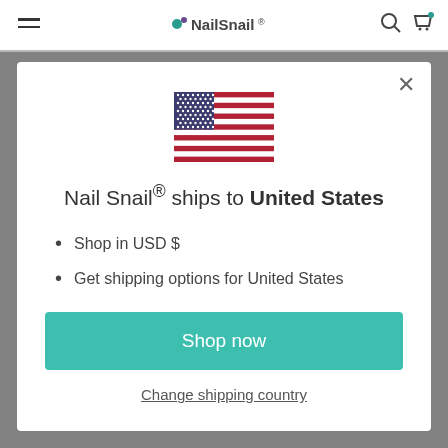NailSnail®
[Figure (illustration): US flag icon centered in modal]
Nail Snail® ships to United States
Shop in USD $
Get shipping options for United States
Shop now
Change shipping country
an annual baby boom.